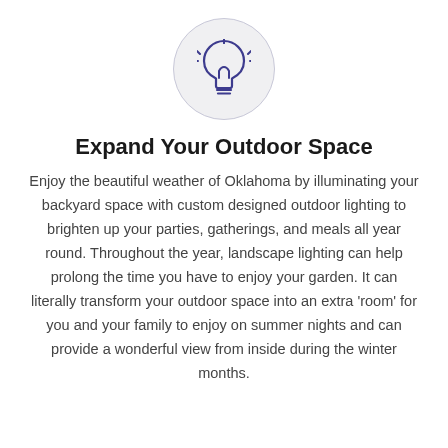[Figure (illustration): A light bulb icon with rays, inside a light gray circle with a thin border.]
Expand Your Outdoor Space
Enjoy the beautiful weather of Oklahoma by illuminating your backyard space with custom designed outdoor lighting to brighten up your parties, gatherings, and meals all year round. Throughout the year, landscape lighting can help prolong the time you have to enjoy your garden. It can literally transform your outdoor space into an extra ‘room’ for you and your family to enjoy on summer nights and can provide a wonderful view from inside during the winter months.